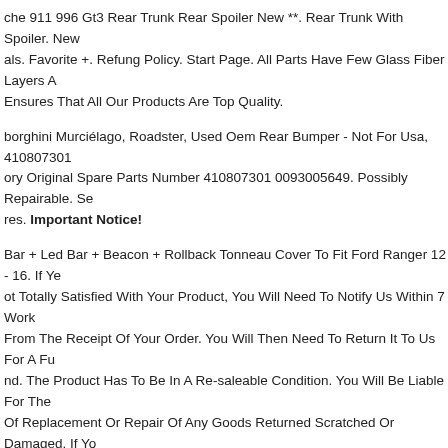che 911 996 Gt3 Rear Trunk Rear Spoiler New **. Rear Trunk With Spoiler. New als. Favorite +. Refung Policy. Start Page. All Parts Have Few Glass Fiber Layers A Ensures That All Our Products Are Top Quality.
borghini Murciélago, Roadster, Used Oem Rear Bumper - Not For Usa, 410807301 ory Original Spare Parts Number 410807301 0093005649. Possibly Repairable. Se res. Important Notice!
Bar + Led Bar + Beacon + Rollback Tonneau Cover To Fit Ford Ranger 12 - 16. If Ye ot Totally Satisfied With Your Product, You Will Need To Notify Us Within 7 Work From The Receipt Of Your Order. You Will Then Need To Return It To Us For A Fu nd. The Product Has To Be In A Re-saleable Condition. You Will Be Liable For The Of Replacement Or Repair Of Any Goods Returned Scratched Or Damaged. If Yo ning An Item, You Must Ensure That We Receive It Adequately Packaged (simila Way It Was Delivered To You), Correctly Addressed With Correct Postage.we mmend That You Insure The Return Of The Item. The Customer Must Pay For Re ery Costs, However This Will Be Refunded If Reason For Return Is No Fault Of omer. The Customer Must Inform Us Of Any Returns Within 7 Working Days Of ipt Of Goods. Please Check Goods Upon.
tyle Carbon Body Kit For Bentley Gt 20-22 Front Lip Rear Diffuser Side Skirt. Carb